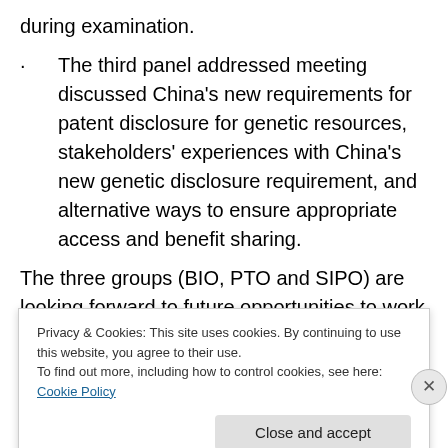during examination.
· The third panel addressed meeting discussed China's new requirements for patent disclosure for genetic resources, stakeholders' experiences with China's new genetic disclosure requirement, and alternative ways to ensure appropriate access and benefit sharing.
The three groups (BIO, PTO and SIPO) are looking forward to future opportunities to work together on issues of common interest.
Privacy & Cookies: This site uses cookies. By continuing to use this website, you agree to their use.
To find out more, including how to control cookies, see here: Cookie Policy
Close and accept